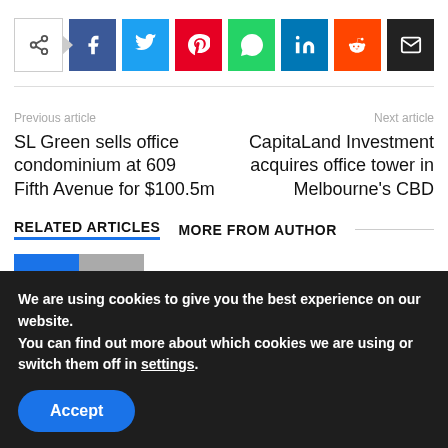[Figure (infographic): Social share bar with share icon and buttons for Facebook, Twitter, Pinterest, WhatsApp, LinkedIn, Reddit, and Email]
Previous article
SL Green sells office condominium at 609 Fifth Avenue for $100.5m
Next article
CapitaLand Investment acquires office tower in Melbourne's CBD
RELATED ARTICLES   MORE FROM AUTHOR
We are using cookies to give you the best experience on our website.
You can find out more about which cookies we are using or switch them off in settings.
Accept